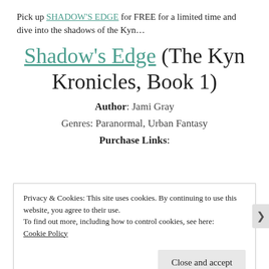Pick up SHADOW'S EDGE for FREE for a limited time and dive into the shadows of the Kyn…
Shadow's Edge (The Kyn Kronicles, Book 1)
Author: Jami Gray
Genres: Paranormal, Urban Fantasy
Purchase Links:
Privacy & Cookies: This site uses cookies. By continuing to use this website, you agree to their use.
To find out more, including how to control cookies, see here:
Cookie Policy
Close and accept